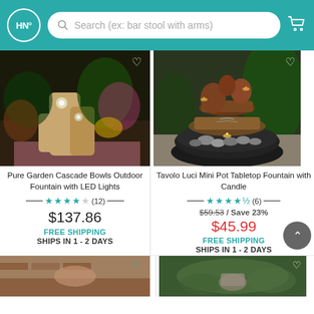HN° Search (ex: bar stool with arms)
[Figure (photo): Pure Garden Cascade Bowls outdoor fountain with LED lights in garden setting at night]
Pure Garden Cascade Bowls Outdoor Fountain with LED Lights
★★★★☆ (12) $137.86 FREE SHIPPING SHIPS IN 1 - 2 DAYS
[Figure (photo): Tavolo Luci Mini Pot Tabletop Fountain with candle and stacked rocks]
Tavolo Luci Mini Pot Tabletop Fountain with Candle
★★★★½ (6) $59.53 / Save 23% $45.99 FREE SHIPPING SHIPS IN 1 - 2 DAYS
[Figure (photo): Bottom left product thumbnail partially visible]
[Figure (photo): Bottom right product thumbnail partially visible]